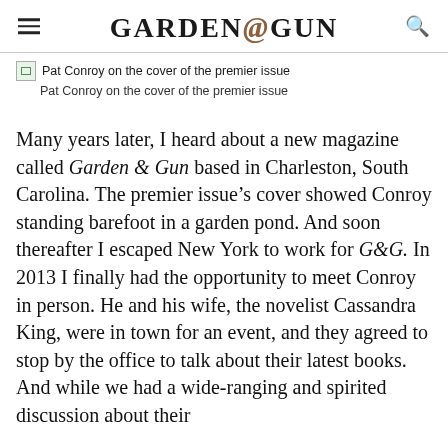GARDEN & GUN
[Figure (photo): Broken image placeholder with alt text: Pat Conroy on the cover of the premier issue]
Pat Conroy on the cover of the premier issue
Many years later, I heard about a new magazine called Garden & Gun based in Charleston, South Carolina. The premier issue’s cover showed Conroy standing barefoot in a garden pond. And soon thereafter I escaped New York to work for G&G. In 2013 I finally had the opportunity to meet Conroy in person. He and his wife, the novelist Cassandra King, were in town for an event, and they agreed to stop by the office to talk about their latest books. And while we had a wide-ranging and spirited discussion about their